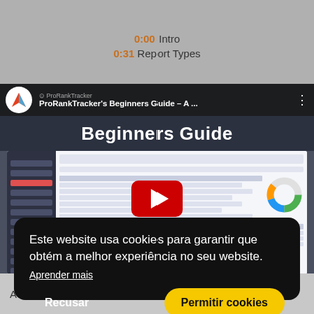0:00 Intro
0:31 Report Types
[Figure (screenshot): YouTube video embed showing ProRankTracker's Beginners Guide with a play button overlay on a screenshot of the ProRankTracker application interface]
A 1...r
Este website usa cookies para garantir que obtém a melhor experiência no seu website.
Aprender mais
Recusar    Permitir cookies